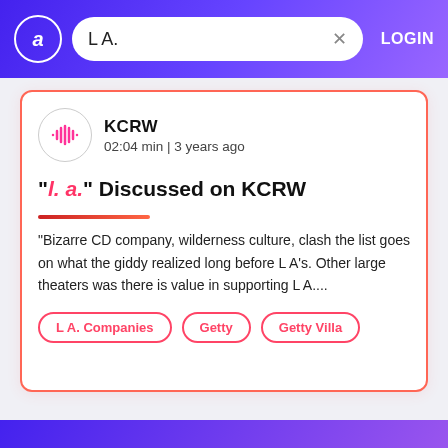L A.  LOGIN
KCRW
02:04 min | 3 years ago
"l. a." Discussed on KCRW
"Bizarre CD company, wilderness culture, clash the list goes on what the giddy realized long before L A's. Other large theaters was there is value in supporting L A....
L A. Companies
Getty
Getty Villa